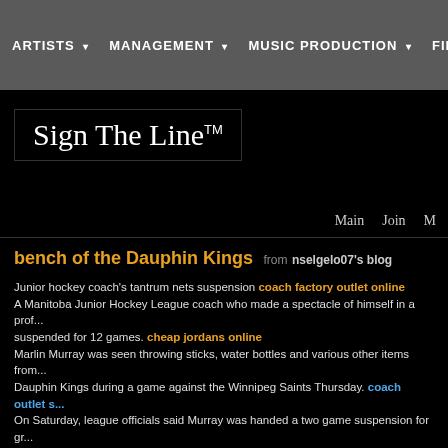ARTISTS  MANAGEMENT  MUSIC PRODUCTION  FIL...
Sign The Line™
Main  Join  M...
bench of the Dauphin Kings from nselgelo07's blog
Junior hockey coach's tantrum nets suspension coach factory outlet online A Manitoba Junior Hockey League coach who made a spectacle of himself in a prof... suspended for 12 games. cheap jordans online Marlin Murray was seen throwing sticks, water bottles and various other items from the bench of the Dauphin Kings during a game against the Winnipeg Saints Thursday. coach outlet s... On Saturday, league officials said Murray was handed a two game suspension for gr... game suspension for "physical harassment of officials." polo outlet online Kim Davis, the commissioner of the MJHL, told CBC News on Saturday that he is n... at the game. jordans outlet